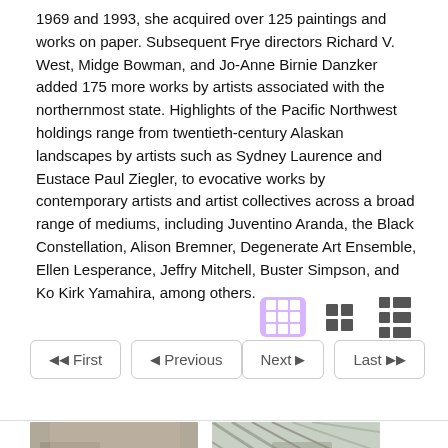1969 and 1993, she acquired over 125 paintings and works on paper. Subsequent Frye directors Richard V. West, Midge Bowman, and Jo-Anne Birnie Danzker added 175 more works by artists associated with the northernmost state. Highlights of the Pacific Northwest holdings range from twentieth-century Alaskan landscapes by artists such as Sydney Laurence and Eustace Paul Ziegler, to evocative works by contemporary artists and artist collectives across a broad range of mediums, including Juventino Aranda, the Black Constellation, Alison Bremner, Degenerate Art Ensemble, Ellen Lesperance, Jeffry Mitchell, Buster Simpson, and Ko Kirk Yamahira, among others.
[Figure (screenshot): Navigation UI elements: three view toggle icons (grid/medium/list) with the leftmost (3x3 grid) highlighted in purple, and pagination buttons: First, Previous, Next, Last]
[Figure (photo): Two thumbnail images at the bottom of the page, partially visible]